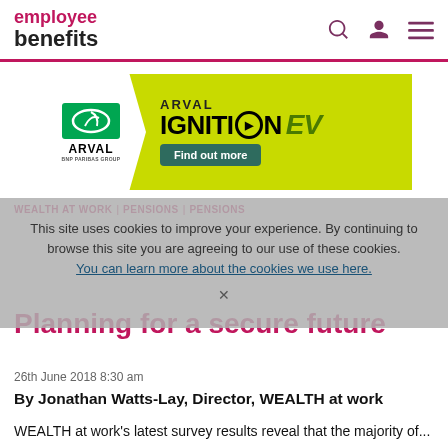employee benefits
[Figure (illustration): Arval BNP Paribas Group advertisement banner for Arval Ignition EV, with green background, Arval logo, and 'Find out more' button]
WEALTH AT WORK | PENSIONS | PENSIONS
This site uses cookies to improve your experience. By continuing to browse this site you are agreeing to our use of these cookies. You can learn more about the cookies we use here.
Planning for a secure future
26th June 2018 8:30 am
By Jonathan Watts-Lay, Director, WEALTH at work
WEALTH at work's latest survey results reveal that the majority of...